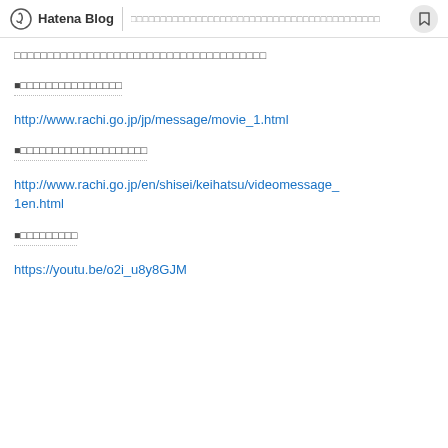Hatena Blog | □□□□□□□□□□□□□□□□□□□□□□□□□□□□□□□□□□
□□□□□□□□□□□□□□□□□□□□□□□□□□□□□□□□□□□□□□
■□□□□□□□□□□□□□□□□
http://www.rachi.go.jp/jp/message/movie_1.html
■□□□□□□□□□□□□□□□□□□□□
http://www.rachi.go.jp/en/shisei/keihatsu/videomessage_1en.html
■□□□□□□□□□
https://youtu.be/o2i_u8y8GJM